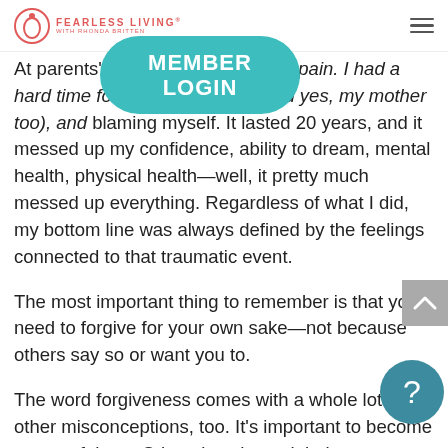Fearless Living with Rhonda Britten
[Figure (other): Teal rounded rectangle button with white bold text reading MEMBER LOGIN]
At parents' death, I was the one in pain. I had a hard time forgiving my father, (and yes, my mother too), and blaming myself. It lasted 20 years, and it messed up my confidence, ability to dream, mental health, physical health—well, it pretty much messed up everything. Regardless of what I did, my bottom line was always defined by the feelings connected to that traumatic event.
The most important thing to remember is that you need to forgive for your own sake—not because others say so or want you to.
The word forgiveness comes with a whole lot of other misconceptions, too. It's important to become aware of them. Otherwise, they might impact your ability to forgive.